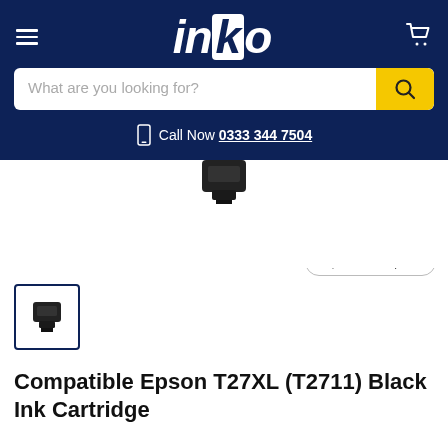inko
What are you looking for?
Call Now 0333 344 7504
[Figure (photo): Black ink cartridge product image shown partially at top of product page]
Click to expand
[Figure (photo): Small thumbnail of black ink cartridge with dark navy blue border indicating selected state]
Compatible Epson T27XL (T2711) Black Ink Cartridge